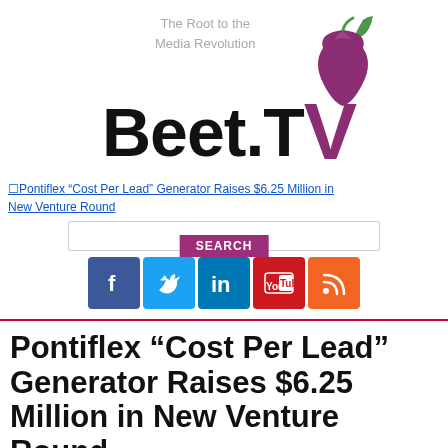[Figure (logo): Beet.TV logo with tagline 'The Root to the Media Revolution' and a purple beet graphic]
Pontiflex “Cost Per Lead” Generator Raises $6.25 Million in New Venture Round
[Figure (infographic): Social media icons bar: Facebook, Twitter, LinkedIn, YouTube, RSS with a SEARCH button overlay and a search input box]
Pontiflex “Cost Per Lead” Generator Raises $6.25 Million in New Venture Round